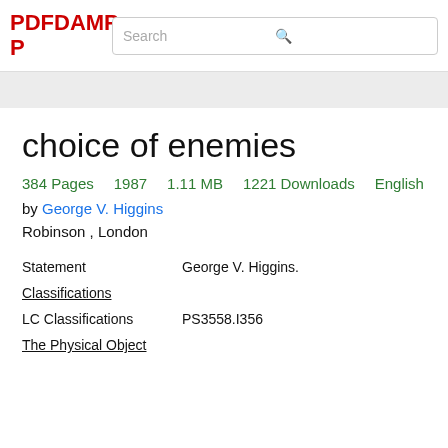PDFDAMP
choice of enemies
384 Pages   1987   1.11 MB   1221 Downloads   English
by George V. Higgins
Robinson , London
|  |  |
| --- | --- |
| Statement | George V. Higgins. |
| Classifications |  |
| LC Classifications | PS3558.I356 |
| The Physical Object |  |